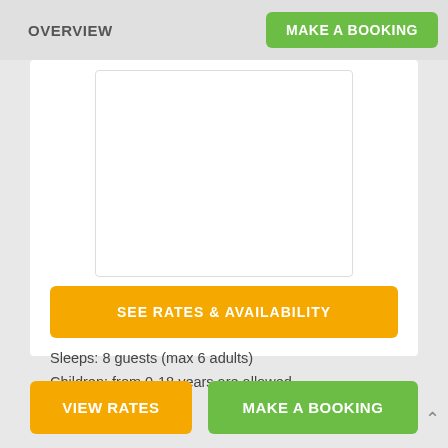OVERVIEW
MAKE A BOOKING
[Figure (photo): White/blank image placeholder for cottage photo]
The cottage sleeps six adults and two children. There are three bedrooms, one with a double
Sleeps: 8 guests (max 6 adults)
Children: from 0-18 years are allowed
SEE RATES & AVAILABILITY
VIEW RATES
MAKE A BOOKING